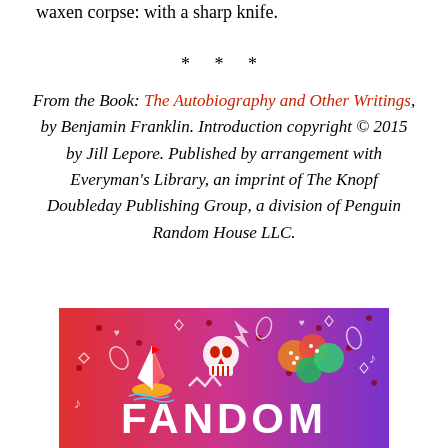waxen corpse: with a sharp knife.
* * *
From the Book: The Autobiography and Other Writings, by Benjamin Franklin. Introduction copyright © 2015 by Jill Lepore. Published by arrangement with Everyman's Library, an imprint of The Knopf Doubleday Publishing Group, a division of Penguin Random House LLC.
[Figure (logo): Fandom logo banner with colorful gradient background (red to purple) featuring white outlined icons (sailboat, skull, dice, musical notes, diamonds) and the word FANDOM in large white letters]